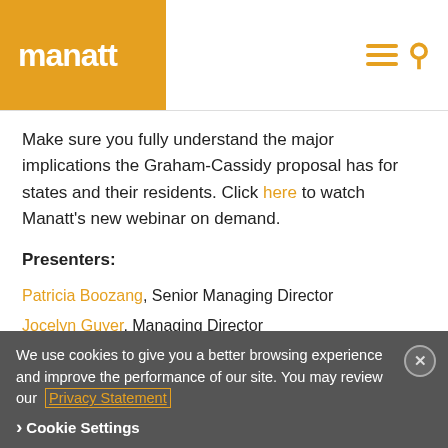manatt
Make sure you fully understand the major implications the Graham-Cassidy proposal has for states and their residents. Click here to watch Manatt’s new webinar on demand.
Presenters:
Patricia Boozang, Senior Managing Director
Jocelyn Guyer, Managing Director
April Grady, Director
We use cookies to give you a better browsing experience and improve the performance of our site. You may review our Privacy Statement
Cookie Settings